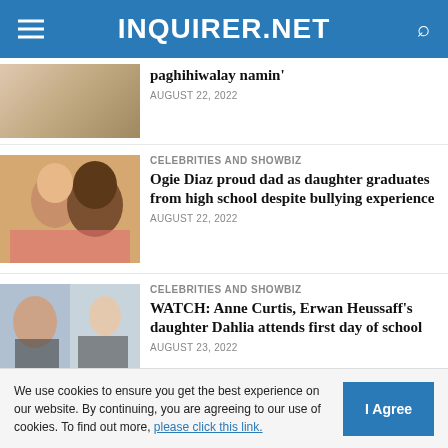INQUIRER.NET
paghihiwalay namin'
AUGUST 22, 2022
CELEBRITIES AND SHOWBIZ
Ogie Diaz proud dad as daughter graduates from high school despite bullying experience
AUGUST 22, 2022
CELEBRITIES AND SHOWBIZ
WATCH: Anne Curtis, Erwan Heussaff's daughter Dahlia attends first day of school
AUGUST 23, 2022
CELEBRITIES AND SHOWBIZ
LOOK: Michelle Madrigal makes public her new
We use cookies to ensure you get the best experience on our website. By continuing, you are agreeing to our use of cookies. To find out more, please click this link.